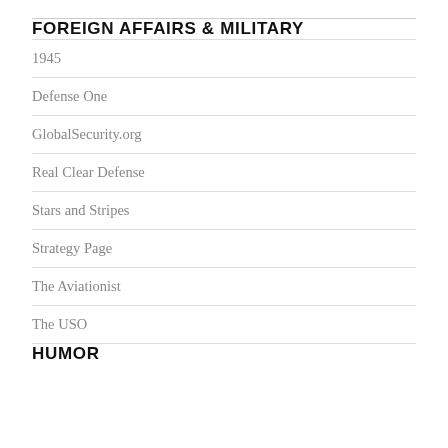FOREIGN AFFAIRS & MILITARY
1945
Defense One
GlobalSecurity.org
Real Clear Defense
Stars and Stripes
Strategy Page
The Aviationist
The USO
HUMOR